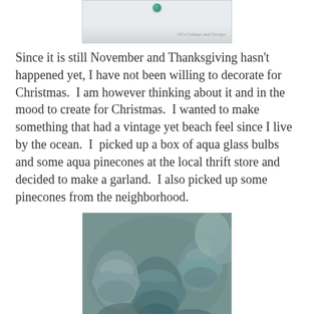[Figure (photo): Top partial photo showing a decorative item with a teal/green glass ball and a watermark reading 'DI's Cottage and Design']
Since it is still November and Thanksgiving hasn't happened yet, I have not been willing to decorate for Christmas.  I am however thinking about it and in the mood to create for Christmas.  I wanted to make something that had a vintage yet beach feel since I live by the ocean.  I  picked up a box of aqua glass bulbs and some aqua pinecones at the local thrift store and decided to make a garland.  I also picked up some pinecones from the neighborhood.
[Figure (photo): Close-up photo of blue-gray tinted pinecones clustered together]